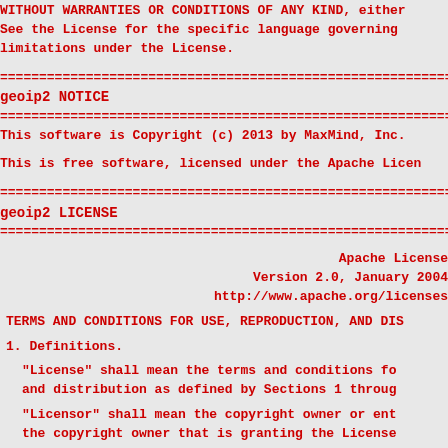WITHOUT WARRANTIES OR CONDITIONS OF ANY KIND, either
See the License for the specific language governing
limitations under the License.
================================================================
geoip2 NOTICE
================================================================
This software is Copyright (c) 2013 by MaxMind, Inc.
This is free software, licensed under the Apache Licen
================================================================
geoip2 LICENSE
================================================================
Apache License
Version 2.0, January 2004
http://www.apache.org/licenses
TERMS AND CONDITIONS FOR USE, REPRODUCTION, AND DIS
1. Definitions.
"License" shall mean the terms and conditions fo
and distribution as defined by Sections 1 throug
"Licensor" shall mean the copyright owner or ent
the copyright owner that is granting the License